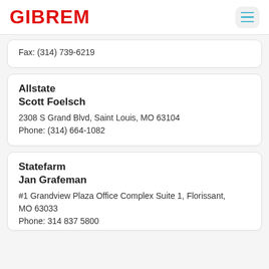GIBREM
Fax: (314) 739-6219
Allstate
Scott Foelsch
2308 S Grand Blvd, Saint Louis, MO 63104
Phone: (314) 664-1082
Statefarm
Jan Grafeman
#1 Grandview Plaza Office Complex Suite 1, Florissant, MO 63033
Phone: 314 837 5800